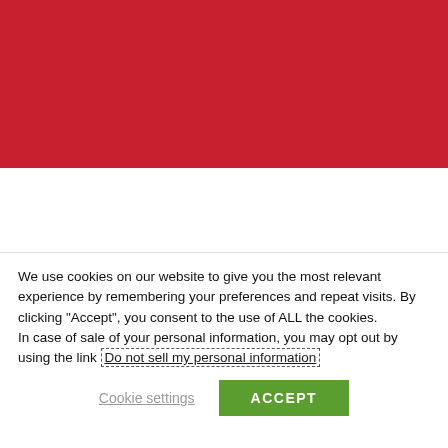[Figure (other): Red banner background at top of page]
OUR SOLUTIONS PARTNERS
We use cookies on our website to give you the most relevant experience by remembering your preferences and repeat visits. By clicking “Accept”, you consent to the use of ALL the cookies.
In case of sale of your personal information, you may opt out by using the link Do not sell my personal information
Cookie settings
ACCEPT